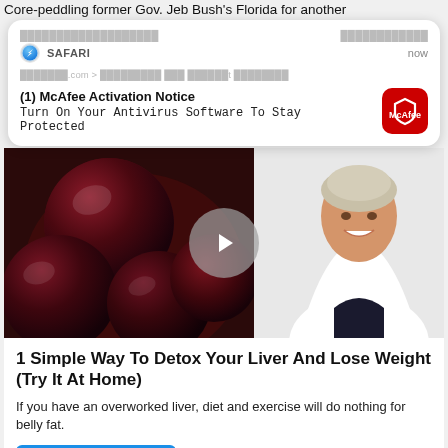Core-peddling former Gov. Jeb Bush's Florida for another
[Figure (screenshot): Safari push notification card from McAfee: title '(1) McAfee Activation Notice', subtitle 'Turn On Your Antivirus Software To Stay Protected', with McAfee red icon, timestamp 'now']
[Figure (photo): Video thumbnail showing dark red glossy plums/cherries on the left and a smiling woman in a white lab coat on the right, with a gray play button circle in the center]
1 Simple Way To Detox Your Liver And Lose Weight (Try It At Home)
If you have an overworked liver, diet and exercise will do nothing for belly fat.
Watch The Video
5,419